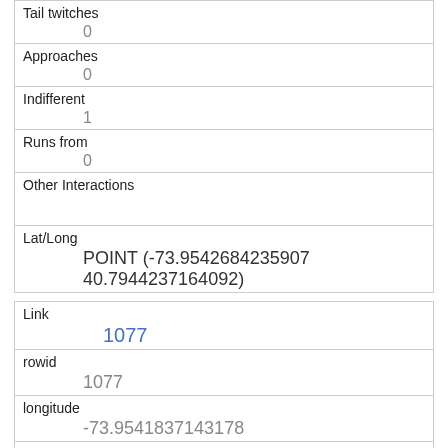| Tail twitches | 0 |
| Approaches | 0 |
| Indifferent | 1 |
| Runs from | 0 |
| Other Interactions |  |
| Lat/Long | POINT (-73.9542684235907 40.7944237164092) |
| Link | 1077 |
| rowid | 1077 |
| longitude | -73.9541837143178 |
| latitude | 40.7944340477396 |